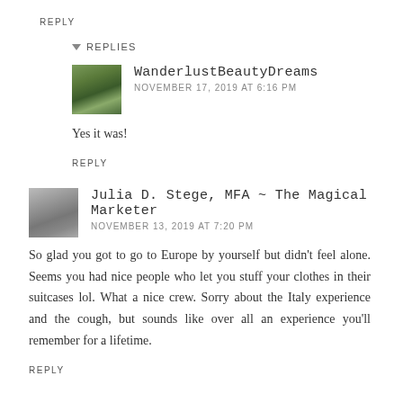REPLY
REPLIES
WanderlustBeautyDreams
NOVEMBER 17, 2019 AT 6:16 PM
Yes it was!
REPLY
Julia D. Stege, MFA ~ The Magical Marketer
NOVEMBER 13, 2019 AT 7:20 PM
So glad you got to go to Europe by yourself but didn't feel alone. Seems you had nice people who let you stuff your clothes in their suitcases lol. What a nice crew. Sorry about the Italy experience and the cough, but sounds like over all an experience you'll remember for a lifetime.
REPLY